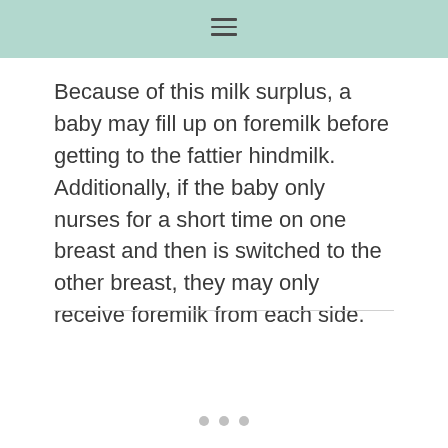Because of this milk surplus, a baby may fill up on foremilk before getting to the fattier hindmilk. Additionally, if the baby only nurses for a short time on one breast and then is switched to the other breast, they may only receive foremilk from each side.